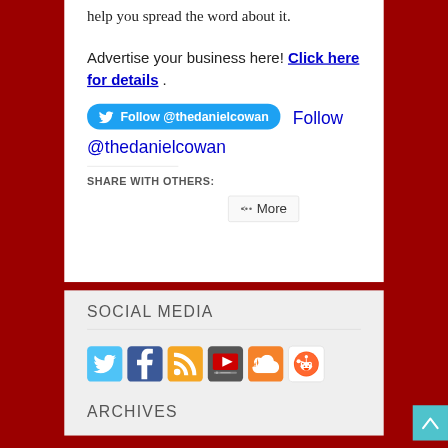help you spread the word about it.
Advertise your business here! Click here for details .
Follow @thedanielcowan
SHARE WITH OTHERS:
More
SOCIAL MEDIA
[Figure (infographic): Row of 6 social media icons: Twitter (blue bird), Facebook (blue F), RSS (orange), YouTube (dark with play button), SoundCloud (orange), Reddit (white alien)]
ARCHIVES